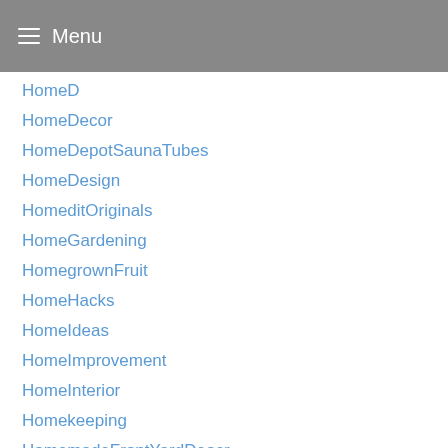Menu
HomeD
HomeDecor
HomeDepotSaunaTubes
HomeDesign
HomeditOriginals
HomeGardening
HomegrownFruit
HomeHacks
HomeIdeas
HomeImprovement
HomeInterior
Homekeeping
HomemadeFrontYardDeocr
HomeOfTheRishels
HomeOrganization
HomeOwner
Homeownership